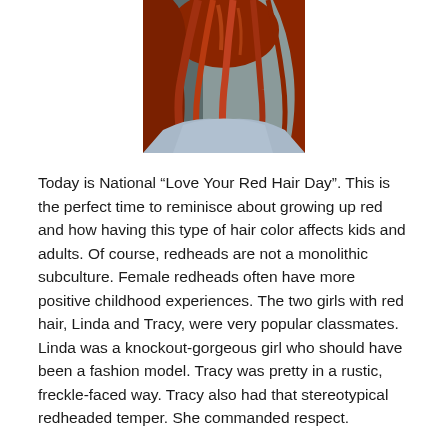[Figure (photo): Cropped photo of a person with long red/auburn hair wearing a light blue denim jacket, photographed from behind/side angle.]
Today is National “Love Your Red Hair Day”. This is the perfect time to reminisce about growing up red and how having this type of hair color affects kids and adults. Of course, redheads are not a monolithic subculture. Female redheads often have more positive childhood experiences. The two girls with red hair, Linda and Tracy, were very popular classmates. Linda was a knockout-gorgeous girl who should have been a fashion model. Tracy was pretty in a rustic, freckle-faced way. Tracy also had that stereotypical redheaded temper. She commanded respect.
Although my first seventeen years were spent in redhead hell, I think that overall, it not only toughened me up, but